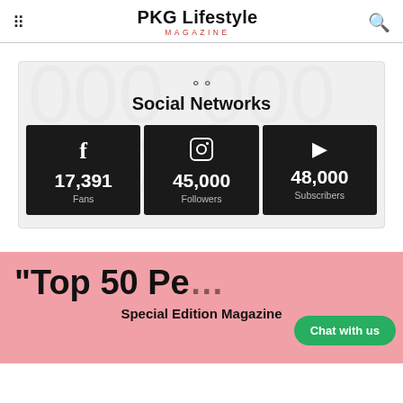PKG Lifestyle MAGAZINE
Social Networks
| Facebook | Instagram | YouTube |
| --- | --- | --- |
| 17,391 Fans | 45,000 Followers | 48,000 Subscribers |
"Top 50 Pe...
Special Edition Magazine
Chat with us